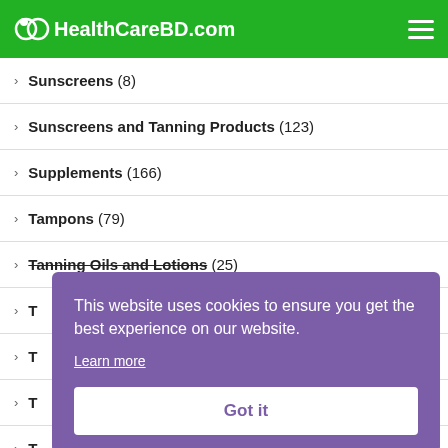HealthCareBD.com
Sunscreens (8)
Sunscreens and Tanning Products (123)
Supplements (166)
Tampons (79)
Tanning Oils and Lotions (25)
T...
T...
T...
T...
Teeth Grinding Guards (63)
This website uses cookies to ensure you get the best experience on our website. Learn more Got it